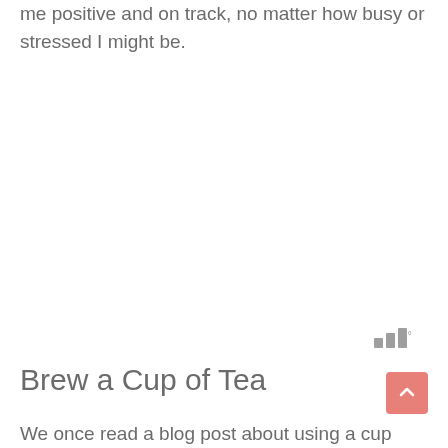me positive and on track, no matter how busy or stressed I might be.
[Figure (other): Signal/bars icon with degree symbol, representing a small UI widget]
Brew a Cup of Tea
We once read a blog post about using a cup